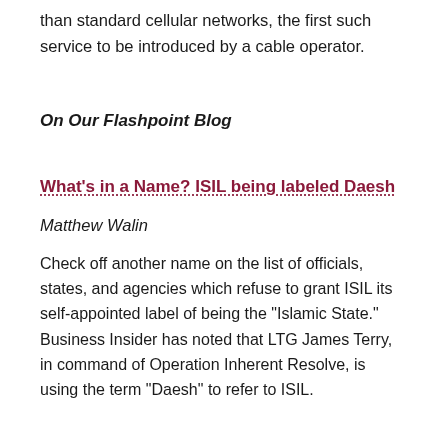than standard cellular networks, the first such service to be introduced by a cable operator.
On Our Flashpoint Blog
What's in a Name? ISIL being labeled Daesh
Matthew Walin
Check off another name on the list of officials, states, and agencies which refuse to grant ISIL its self-appointed label of being the “Islamic State.” Business Insider has noted that LTG James Terry, in command of Operation Inherent Resolve, is using the term “Daesh” to refer to ISIL.